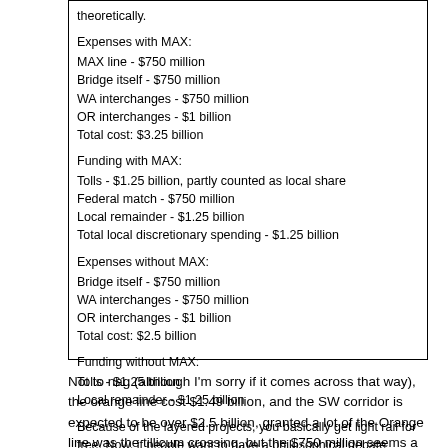theoretically.
Expenses with MAX:
MAX line - $750 million
Bridge itself - $750 million
WA interchanges - $750 million
OR interchanges - $1 billion
Total cost: $3.25 billion
Funding with MAX:
Tolls - $1.25 billion, partly counted as local share
Federal match - $750 million
Local remainder - $1.25 billion
Total local discretionary spending - $1.25 billion
Expenses without MAX:
Bridge itself - $750 million
WA interchanges - $750 million
OR interchanges - $1 billion
Total cost: $2.5 billion
Funding without MAX:
Tolls - $1.25 billion
Local remainder - $1.25 billion
Because of the layered projects, you basically get light rail for free. Now, if people want to have a philosophical debate about not wanting light rail in Vancouver, that's fine, but the project doesn't get any cheaper by dropping MAX.
Not to nag (although I'm sorry if it comes across that way), the orange line cost $1.49 billion, and the SW corridor is expected to be over $2.5 billion, granted a lot of the Orange line was the tillicum crossing, but the $750 million seems a little low to me. Also the feds last time only committed to replacing the bridge.